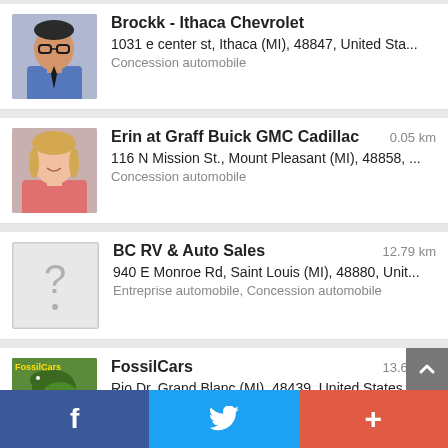Brockk - Ithaca Chevrolet
1031 e center st, Ithaca (MI), 48847, United Sta...
Concession automobile
Erin at Graff Buick GMC Cadillac
0.05 km
116 N Mission St., Mount Pleasant (MI), 48858, ...
Concession automobile
BC RV & Auto Sales
12.79 km
940 E Monroe Rd, Saint Louis (MI), 48880, Unit...
Entreprise automobile, Concession automobile
FossilCars
13.69 km
Rio Dr, Grand Blanc (MI), 48439, United States
Entreprise automobile, Concession automobile